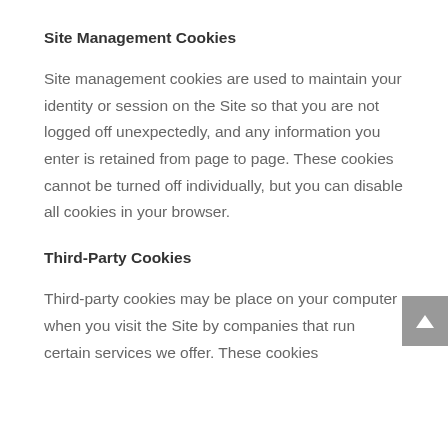Site Management Cookies
Site management cookies are used to maintain your identity or session on the Site so that you are not logged off unexpectedly, and any information you enter is retained from page to page. These cookies cannot be turned off individually, but you can disable all cookies in your browser.
Third-Party Cookies
Third-party cookies may be place on your computer when you visit the Site by companies that run certain services we offer. These cookies